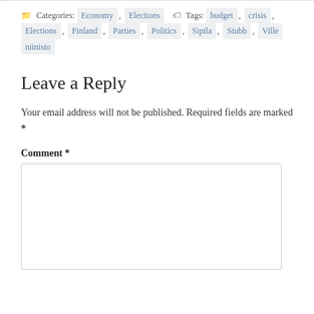Categories: Economy , Elections , Tags: budget , crisis , Elections , Finland , Parties , Politics , Sipila , Stubb , Ville niinisto
Leave a Reply
Your email address will not be published. Required fields are marked *
Comment *